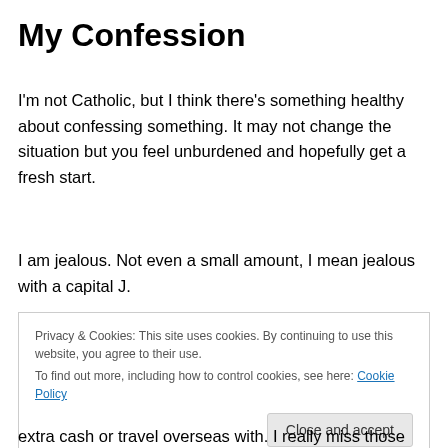My Confession
I'm not Catholic, but I think there's something healthy about confessing something. It may not change the situation but you feel unburdened and hopefully get a fresh start.
I am jealous. Not even a small amount, I mean jealous with a capital J.
Privacy & Cookies: This site uses cookies. By continuing to use this website, you agree to their use. To find out more, including how to control cookies, see here: Cookie Policy
extra cash or travel overseas with. I really miss those